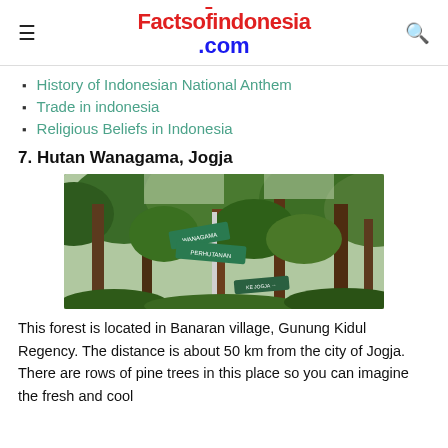Factsofindonesia.com
History of Indonesian National Anthem
Trade in indonesia
Religious Beliefs in Indonesia
7. Hutan Wanagama, Jogja
[Figure (photo): Photo of Hutan Wanagama forest in Jogja showing tall trees and green directional signboards on a pole]
This forest is located in Banaran village, Gunung Kidul Regency. The distance is about 50 km from the city of Jogja. There are rows of pine trees in this place so you can imagine the fresh and cool